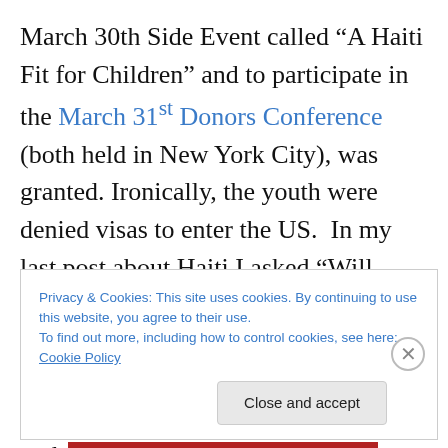March 30th Side Event called “A Haiti Fit for Children” and to participate in the March 31st Donors Conference (both held in New York City), was granted. Ironically, the youth were denied visas to enter the US. In my last post about Haiti I asked “Will Haitian youth go missing again?” The answer is “yes.” But at least we can hope that their voices in written form will reach the eyes and ears of decision makers and donors. I hope that they will listen. Children under 18 make up around 50% of the population in Haiti… if they go unheard, that is a lot of missing voices.
Privacy & Cookies: This site uses cookies. By continuing to use this website, you agree to their use. To find out more, including how to control cookies, see here: Cookie Policy
Close and accept